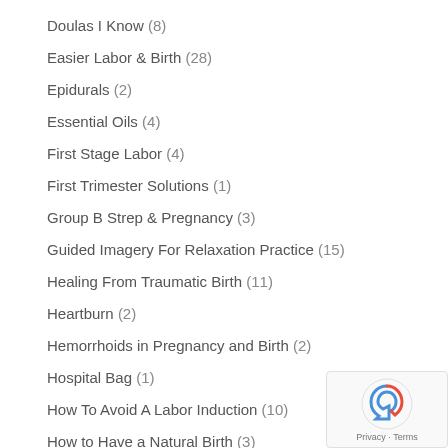Doulas I Know (8)
Easier Labor & Birth (28)
Epidurals (2)
Essential Oils (4)
First Stage Labor (4)
First Trimester Solutions (1)
Group B Strep & Pregnancy (3)
Guided Imagery For Relaxation Practice (15)
Healing From Traumatic Birth (11)
Heartburn (2)
Hemorrhoids in Pregnancy and Birth (2)
Hospital Bag (1)
How To Avoid A Labor Induction (10)
How to Have a Natural Birth (3)